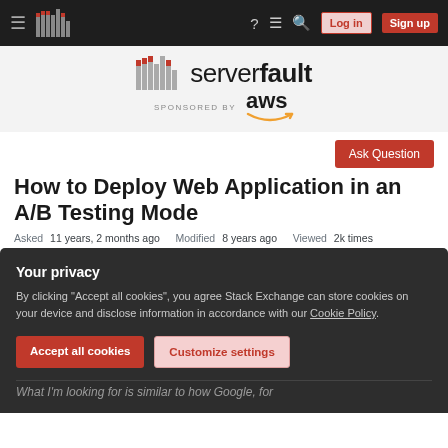serverfault navigation bar with Log in and Sign up buttons
[Figure (logo): Server Fault logo with bar chart icon and 'serverfault' text, sponsored by aws]
How to Deploy Web Application in an A/B Testing Mode
Asked 11 years, 2 months ago   Modified 8 years ago   Viewed 2k times
Your privacy
By clicking "Accept all cookies", you agree Stack Exchange can store cookies on your device and disclose information in accordance with our Cookie Policy.
Accept all cookies   Customize settings
What I'm looking for is similar to how Google, for